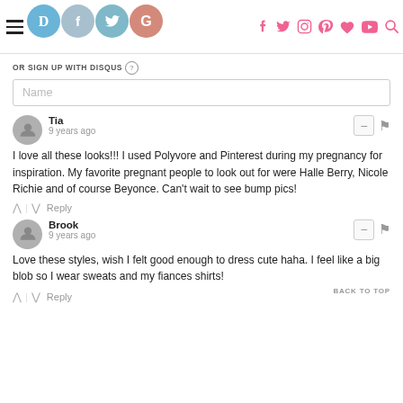OR SIGN UP WITH DISQUS (?) [social icons: Disqus, Facebook, Twitter, Google, and pink icons: f, Twitter, Instagram, Pinterest, heart, YouTube, search]
OR SIGN UP WITH DISQUS (?)
Name
Tia
9 years ago
I love all these looks!!! I used Polyvore and Pinterest during my pregnancy for inspiration. My favorite pregnant people to look out for were Halle Berry, Nicole Richie and of course Beyonce. Can't wait to see bump pics!
↑ | ↓  Reply
Brook
9 years ago
Love these styles, wish I felt good enough to dress cute haha. I feel like a big blob so I wear sweats and my fiances shirts!
BACK TO TOP
↑ | ↓  Reply